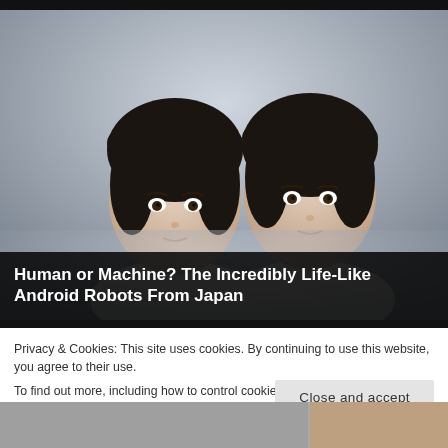[Figure (photo): Two life-like android robots with human faces, dark bowl-cut hair, and white clothing, set against a grey gradient background. A small dark mechanical component is visible on the left robot's neck.]
Human or Machine? The Incredibly Life-Like Android Robots From Japan
Privacy & Cookies: This site uses cookies. By continuing to use this website, you agree to their use.
To find out more, including how to control cookies, see here: Cookie Policy
Close and accept
[Figure (photo): Partial bottom strip showing another image, partially cropped at the bottom of the page.]